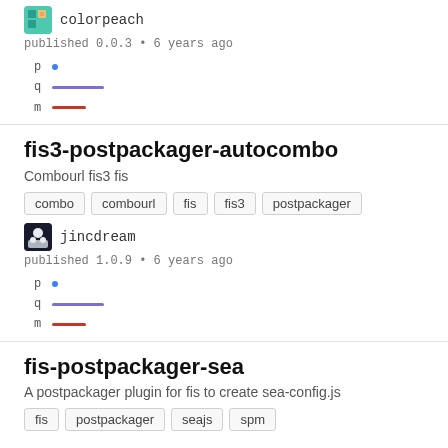colorpeach
published 0.0.3 • 6 years ago
[Figure (infographic): p q m rows with dot, purple line, and red line indicators]
fis3-postpackager-autocombo
Combourl fis3 fis
combo
combourl
fis
fis3
postpackager
jincdream
published 1.0.9 • 6 years ago
[Figure (infographic): p q m rows with dot, purple line, and red line indicators]
fis-postpackager-sea
A postpackager plugin for fis to create sea-config.js
fis
postpackager
seajs
spm